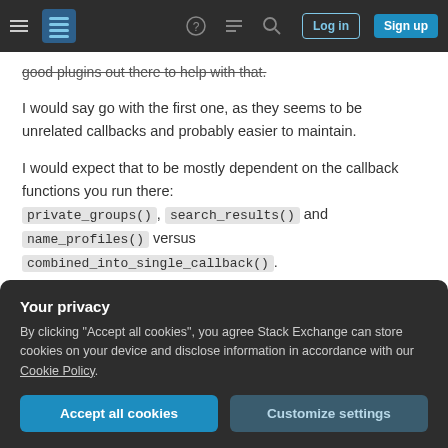Stack Exchange navigation bar with hamburger menu, logo, help, chat, search icons, Log in and Sign up buttons
good plugins out there to help with that.
I would say go with the first one, as they seems to be unrelated callbacks and probably easier to maintain.
I would expect that to be mostly dependent on the callback functions you run there: private_groups(), search_results() and name_profiles() versus combined_into_single_callback().
Your privacy
By clicking "Accept all cookies", you agree Stack Exchange can store cookies on your device and disclose information in accordance with our Cookie Policy.
Accept all cookies   Customize settings
m_query instance and avoid running expensive ... callbacks for all data.